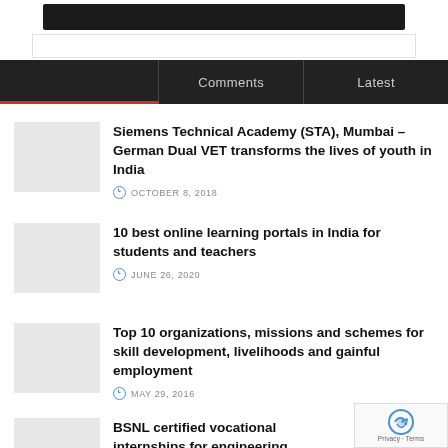[Figure (screenshot): Top navigation bar area with dark header]
Comments | Latest
Siemens Technical Academy (STA), Mumbai – German Dual VET transforms the lives of youth in India
OCTOBER 8, 2018
10 best online learning portals in India for students and teachers
JUNE 26, 2020
Top 10 organizations, missions and schemes for skill development, livelihoods and gainful employment
MAY 29, 2016
BSNL certified vocational internships for engineering diploma students